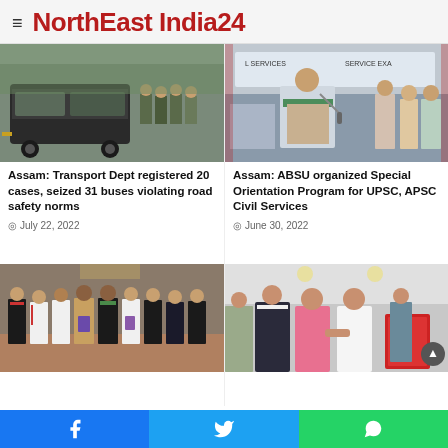NorthEast India24
[Figure (photo): Police officers and buses on a road, transport enforcement scene]
[Figure (photo): Man speaking at podium with green shawl, UPSC/APSC banner in background]
Assam: Transport Dept registered 20 cases, seized 31 buses violating road safety norms
Assam: ABSU organized Special Orientation Program for UPSC, APSC Civil Services
July 22, 2022
June 30, 2022
[Figure (photo): Group of men standing together at a formal event, book launch or ceremony]
[Figure (photo): Three people shaking hands at an event, woman in pink saree center]